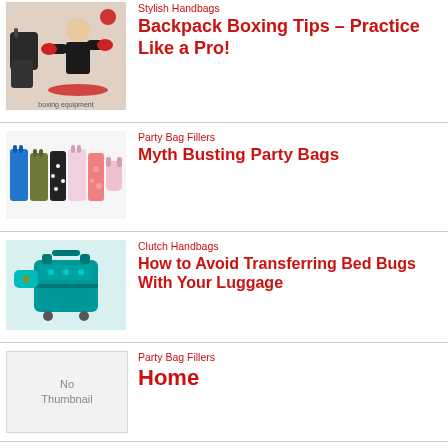Stylish Handbags
Backpack Boxing Tips – Practice Like a Pro!
[Figure (photo): Boxing equipment and a boxer]
Party Bag Fillers
Myth Busting Party Bags
[Figure (photo): Colorful party bags]
Clutch Handbags
How to Avoid Transferring Bed Bugs With Your Luggage
[Figure (photo): Teal luggage/clutch bags]
Party Bag Fillers
Home
[Figure (other): No Thumbnail placeholder]
Gift Bag Ideas